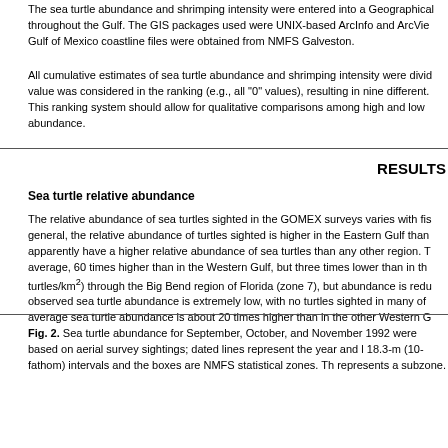The sea turtle abundance and shrimping intensity were entered into a Geographical throughout the Gulf. The GIS packages used were UNIX-based ArcInfo and ArcVie Gulf of Mexico coastline files were obtained from NMFS Galveston.
All cumulative estimates of sea turtle abundance and shrimping intensity were divid value was considered in the ranking (e.g., all "0" values), resulting in nine different. This ranking system should allow for qualitative comparisons among high and low abundance.
RESULTS
Sea turtle relative abundance
The relative abundance of sea turtles sighted in the GOMEX surveys varies with fis general, the relative abundance of turtles sighted is higher in the Eastern Gulf than apparently have a higher relative abundance of sea turtles than any other region. T average, 60 times higher than in the Western Gulf, but three times lower than in th turtles/km²) through the Big Bend region of Florida (zone 7), but abundance is redu observed sea turtle abundance is extremely low, with no turtles sighted in many of average sea turtle abundance is about 20 times higher than in the other Western G
Fig. 2. Sea turtle abundance for September, October, and November 1992 were based on aerial survey sightings; dated lines represent the year and l 18.3-m (10-fathom) intervals and the boxes are NMFS statistical zones. Th represents a subzone.